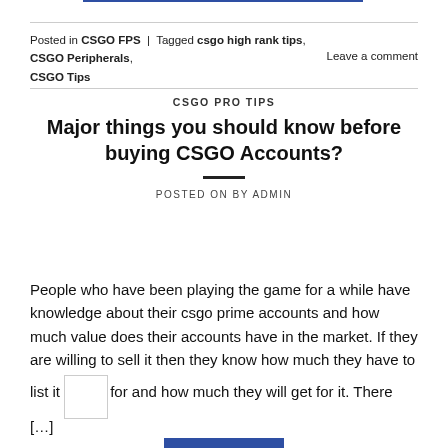Posted in CSGO FPS  |  Tagged csgo high rank tips, CSGO Peripherals, CSGO Tips     Leave a comment
CSGO PRO TIPS
Major things you should know before buying CSGO Accounts?
POSTED ON BY ADMIN
People who have been playing the game for a while have knowledge about their csgo prime accounts and how much value does their accounts have in the market. If they are willing to sell it then they know how much they have to list it for and how much they will get for it. There […]